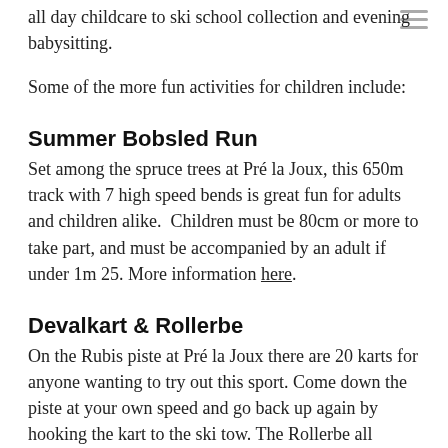all day childcare to ski school collection and evening babysitting.
Some of the more fun activities for children include:
Summer Bobsled Run
Set among the spruce trees at Pré la Joux, this 650m track with 7 high speed bends is great fun for adults and children alike.  Children must be 80cm or more to take part, and must be accompanied by an adult if under 1m 25.  More information here.
Devalkart & Rollerbe
On the Rubis piste at Pré la Joux there are 20 karts for anyone wanting to try out this sport. Come down the piste at your own speed and go back up again by hooking the kart to the ski tow. The Rollerbe all terrain scooter is also on the same section or mountain.  Both activities are for adults or children aged